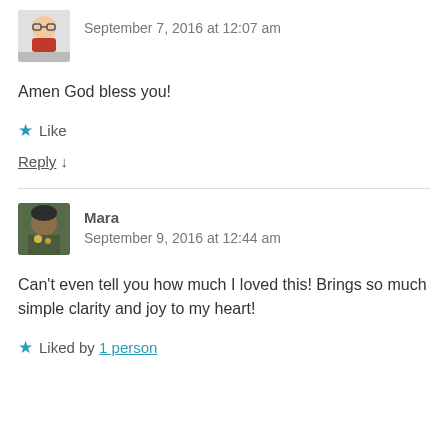September 7, 2016 at 12:07 am
Amen God bless you!
★ Like
Reply ↓
Mara
September 9, 2016 at 12:44 am
Can't even tell you how much I loved this! Brings so much simple clarity and joy to my heart!
★ Liked by 1 person